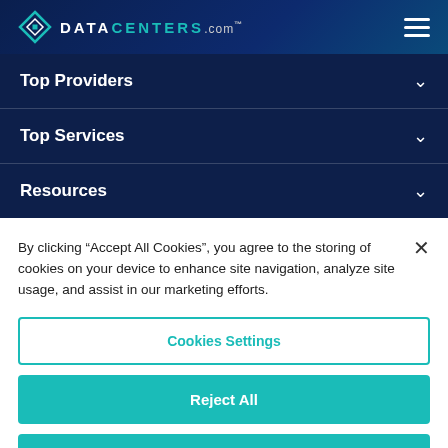DATACENTERS.com
Top Providers
Top Services
Resources
By clicking “Accept All Cookies”, you agree to the storing of cookies on your device to enhance site navigation, analyze site usage, and assist in our marketing efforts.
Cookies Settings
Reject All
Accept All Cookies